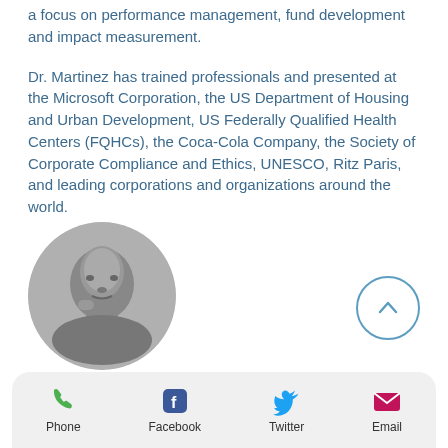a focus on performance management, fund development and impact measurement.
Dr. Martinez has trained professionals and presented at the Microsoft Corporation, the US Department of Housing and Urban Development, US Federally Qualified Health Centers (FQHCs), the Coca-Cola Company, the Society of Corporate Compliance and Ethics, UNESCO, Ritz Paris, and leading corporations and organizations around the world.
[Figure (photo): Black and white circular portrait photo of a man resting his chin on his hand]
[Figure (other): Circular up-arrow navigation button with blue outline]
Phone
Facebook
Twitter
Email